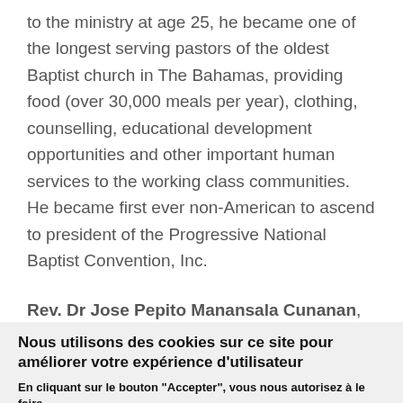to the ministry at age 25, he became one of the longest serving pastors of the oldest Baptist church in The Bahamas, providing food (over 30,000 meals per year), clothing, counselling, educational development opportunities and other important human services to the working class communities. He became first ever non-American to ascend to president of the Progressive National Baptist Convention, Inc.
Rev. Dr Jose Pepito Manansala Cunanan, ordained
Nous utilisons des cookies sur ce site pour améliorer votre expérience d'utilisateur
En cliquant sur le bouton "Accepter", vous nous autorisez à le faire.
Plus d'infos
ACCEPTER
NON, MERCI.